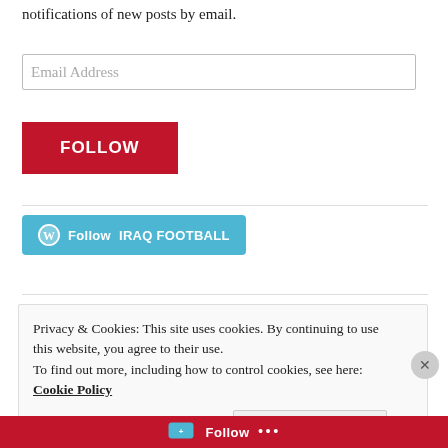notifications of new posts by email.
[Figure (screenshot): Email Address input field with placeholder text]
[Figure (screenshot): Red FOLLOW button]
[Figure (screenshot): Teal WordPress Follow IRAQ FOOTBALL button with WordPress icon]
Privacy & Cookies: This site uses cookies. By continuing to use this website, you agree to their use. To find out more, including how to control cookies, see here: Cookie Policy
Close and accept
Follow ...